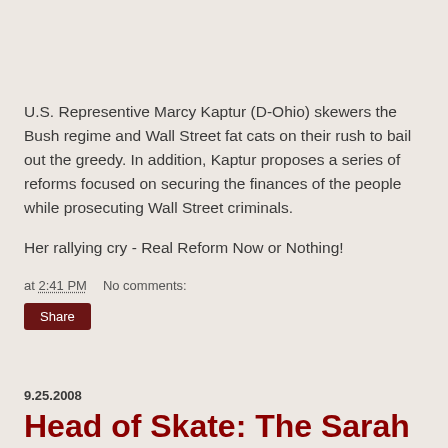U.S. Representive Marcy Kaptur (D-Ohio) skewers the Bush regime and Wall Street fat cats on their rush to bail out the greedy. In addition, Kaptur proposes a series of reforms focused on securing the finances of the people while prosecuting Wall Street criminals.
Her rallying cry - Real Reform Now or Nothing!
at 2:41 PM   No comments:
Share
9.25.2008
Head of Skate: The Sarah Palin Disney Trailer